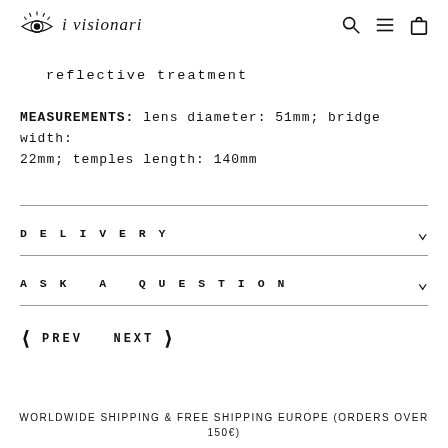i visionari [logo with eye icon, search, menu, bag icons]
reflective treatment
MEASUREMENTS: lens diameter: 51mm; bridge width: 22mm; temples length: 140mm
DELIVERY
ASK A QUESTION
❮ PREV  NEXT ❯
WORLDWIDE SHIPPING & FREE SHIPPING EUROPE (ORDERS OVER 150€)